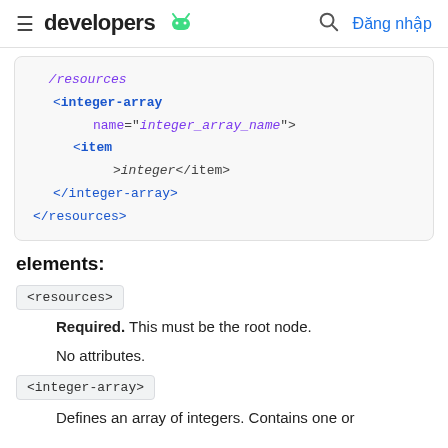≡ developers [android logo] 🔍 Đăng nhập
[Figure (screenshot): XML code block showing integer-array resource syntax with syntax highlighting: <resources>, <integer-array name="integer_array_name">, <item>integer</item>, </integer-array>, </resources>]
elements:
<resources>
Required. This must be the root node.
No attributes.
<integer-array>
Defines an array of integers. Contains one or more child <item> elements.